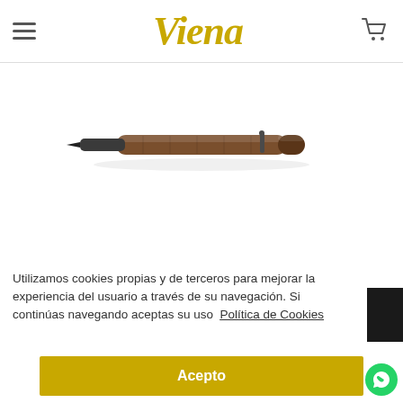Viena — navigation header with hamburger menu, logo, and cart icon
[Figure (photo): A fountain pen with a brown/walnut barrel and dark metal nib, lying horizontally against a white background]
Utilizamos cookies propias y de terceros para mejorar la experiencia del usuario a través de su navegación. Si continúas navegando aceptas su uso  Política de Cookies
Acepto